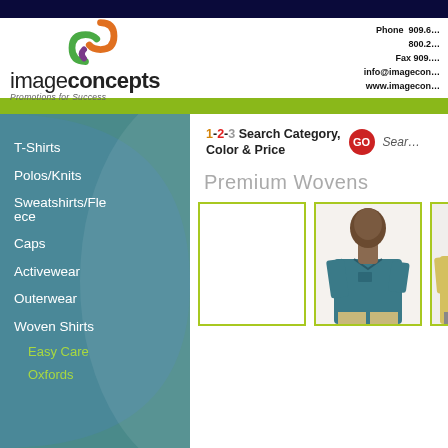[Figure (logo): Image Concepts logo with colorful swirl icon and text 'imageconcepts - Promotions for Success']
Phone 909.6...
800.2...
Fax 909....
info@imagecon...
www.imagecon...
1-2-3 Search Category, Color & Price GO Sear...
T-Shirts
Polos/Knits
Sweatshirts/Fleece
Caps
Activewear
Outerwear
Woven Shirts
Easy Care
Oxfords
Premium Wovens
[Figure (photo): Man wearing teal/dark blue short sleeve woven shirt]
[Figure (photo): Man wearing yellow short sleeve woven shirt]